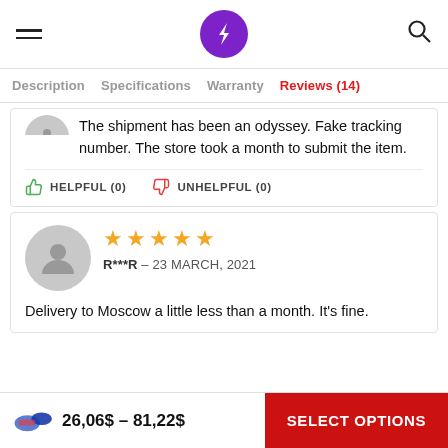Navigation bar with hamburger menu, lightning bolt logo, and search icon
Description  Specifications  Warranty  Reviews (14)
The shipment has been an odyssey. Fake tracking number. The store took a month to submit the item.
HELPFUL (0)   UNHELPFUL (0)
★★★★★  R***R – 23 MARCH, 2021  Delivery to Moscow a little less than a month. It's fine.
26,06$ – 81,22$  SELECT OPTIONS